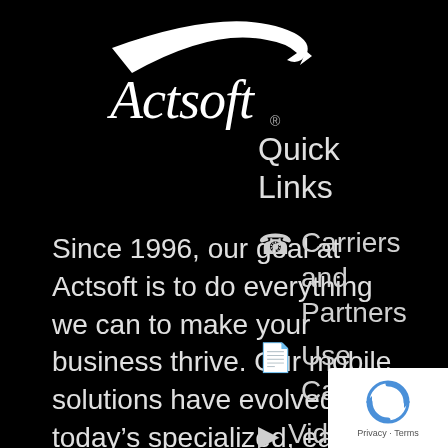[Figure (logo): Actsoft logo in white on black background]
Since 1996, our goal at Actsoft is to do everything we can to make your business thrive. Our mobile solutions have evolved into today's specialized, easy-to-use software that includes a combination of wireless and
Quick Links
Carriers and Partners
Use Cases
Vid
Internationa